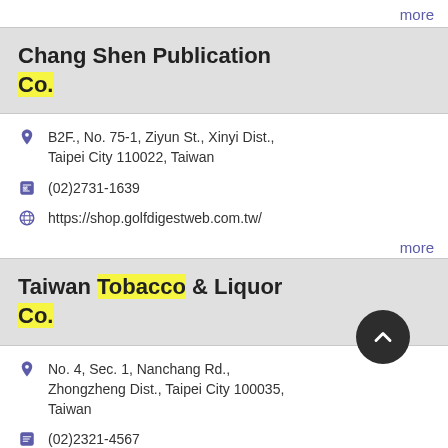more
Chang Shen Publication Co.
B2F., No. 75-1, Ziyun St., Xinyi Dist., Taipei City 110022, Taiwan
(02)2731-1639
https://shop.golfdigestweb.com.tw/
more
Taiwan Tobacco & Liquor Co.
No. 4, Sec. 1, Nanchang Rd., Zhongzheng Dist., Taipei City 100035, Taiwan
(02)2321-4567
https://www.ttl.com.tw/